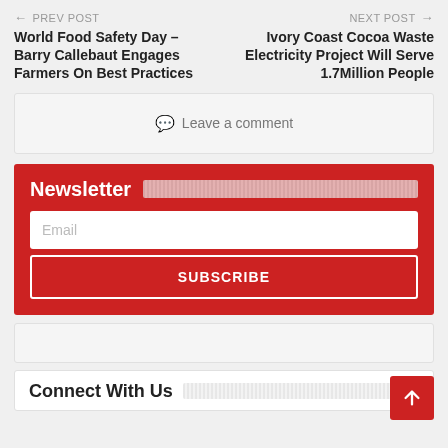← PREV POST | NEXT POST →
World Food Safety Day – Barry Callebaut Engages Farmers On Best Practices
Ivory Coast Cocoa Waste Electricity Project Will Serve 1.7Million People
💬 Leave a comment
Newsletter
Email
SUBSCRIBE
Connect With Us